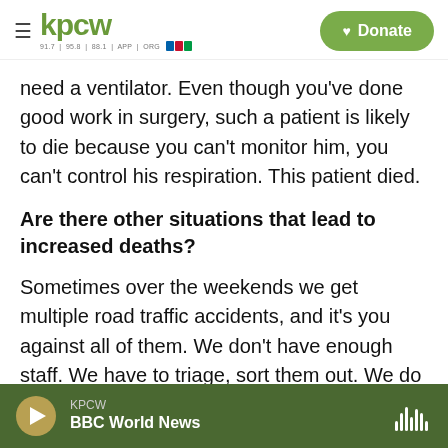[Figure (screenshot): KPCW radio station website header with logo and Donate button]
need a ventilator. Even though you've done good work in surgery, such a patient is likely to die because you can't monitor him, you can't control his respiration. This patient died.
Are there other situations that lead to increased deaths?
Sometimes over the weekends we get multiple road traffic accidents, and it's you against all of them. We don't have enough staff. We have to triage, sort them out. We do them, one after the other, and the ambulances keep coming. The ones
KPCW BBC World News